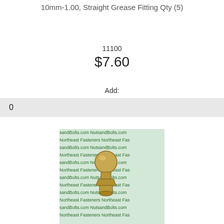10mm-1.00, Straight Grease Fitting Qty (5)
11100
$7.60
Add:
0
[Figure (photo): Photograph of a straight grease fitting (zerk fitting) metallic, shown against a NutsandBolts.com / Northeast Fasteners watermarked background]